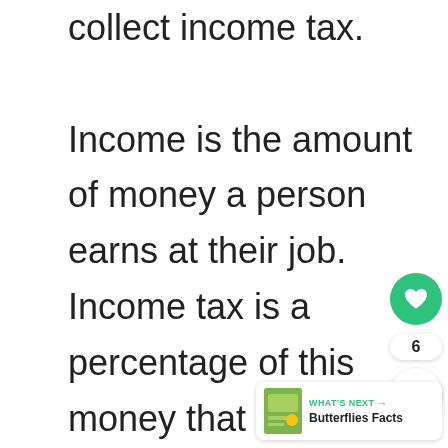collect income tax.

Income is the amount of money a person earns at their job. Income tax is a percentage of this money that is collected by the government to help pay government services, national
[Figure (other): UI overlay with heart/like button (green circle with heart icon), count badge showing 6, share button, and a 'WHAT'S NEXT' panel showing a book thumbnail and text 'Butterflies Facts']